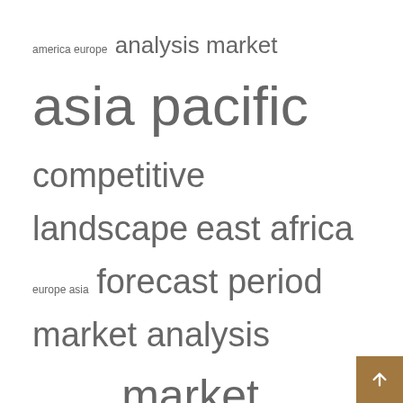[Figure (other): Tag cloud with weighted terms related to market research topics: america europe, analysis market, asia pacific, competitive landscape, east africa, europe asia, forecast period, market analysis, market dynamics, market report, market research, market share, market size, middle east, north america, south america, treatment market, united states]
Recent Posts
FG steps up aerial spraying to control quelea bird in northeast – The Sun